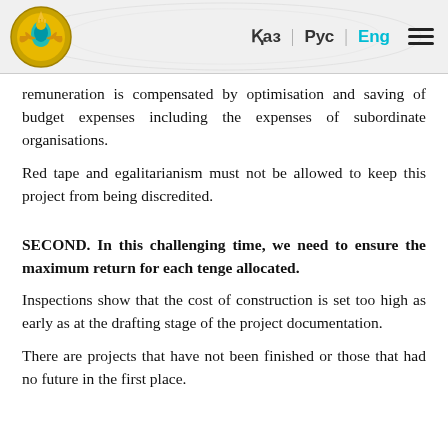Қаз | Рус | Eng
remuneration is compensated by optimisation and saving of budget expenses including the expenses of subordinate organisations.
Red tape and egalitarianism must not be allowed to keep this project from being discredited.
SECOND. In this challenging time, we need to ensure the maximum return for each tenge allocated.
Inspections show that the cost of construction is set too high as early as at the drafting stage of the project documentation.
There are projects that have not been finished or those that had no future in the first place.